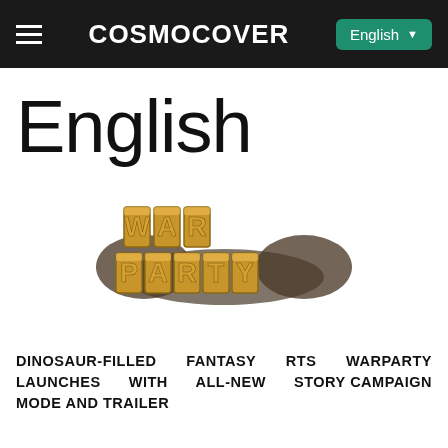COSMOCOVER | English
English
[Figure (logo): War Party game logo — gold stone-carved letters spelling WAR PARTY with rocky stone background elements]
DINOSAUR-FILLED FANTASY RTS WARPARTY LAUNCHES WITH ALL-NEW STORY CAMPAIGN MODE AND TRAILER